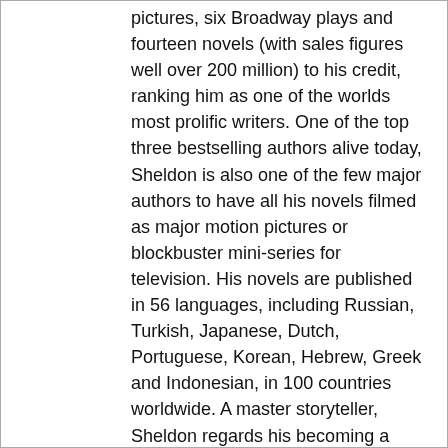pictures, six Broadway plays and fourteen novels (with sales figures well over 200 million) to his credit, ranking him as one of the worlds most prolific writers. One of the top three bestselling authors alive today, Sheldon is also one of the few major authors to have all his novels filmed as major motion pictures or blockbuster mini-series for television. His novels are published in 56 languages, including Russian, Turkish, Japanese, Dutch, Portuguese, Korean, Hebrew, Greek and Indonesian, in 100 countries worldwide. A master storyteller, Sheldon regards his becoming a writer as something of a miracle. Tilly Bagshawe is the internationally bestselling author of seven previous novels. A teenage single mother at 17, Tilly won a place at Cambridge University and took her baby daughter with her. She went on to enjoy a successful career in The City before becoming a writer. As a journalist, Tilly contributed regularly to the Sunday Times, Daily Mail and Evening Standard before following in